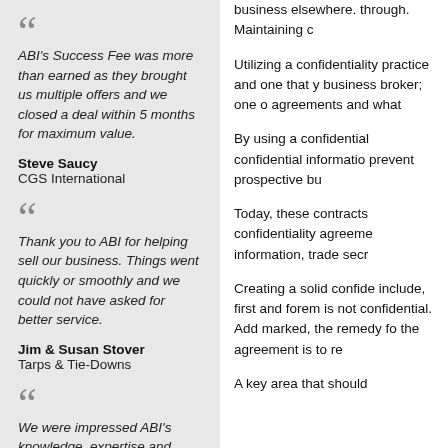ABI's Success Fee was more than earned as they brought us multiple offers and we closed a deal within 5 months for maximum value.
Steve Saucy
CGS International
Thank you to ABI for helping sell our business. Things went quickly or smoothly and we could not have asked for better service.
Jim & Susan Stover
Tarps & Tie-Downs
We were impressed ABI's knowledge, expertise and excellent service. It has been a pleasure to...
business elsewhere. through. Maintaining c...
Utilizing a confidentiality practice and one that y business broker; one o agreements and what...
By using a confidential confidential informatio prevent prospective bu...
Today, these contracts confidentiality agreeme information, trade secr...
Creating a solid confide include, first and forem is not confidential. Add marked, the remedy fo the agreement is to re...
A key area that should be will add to...